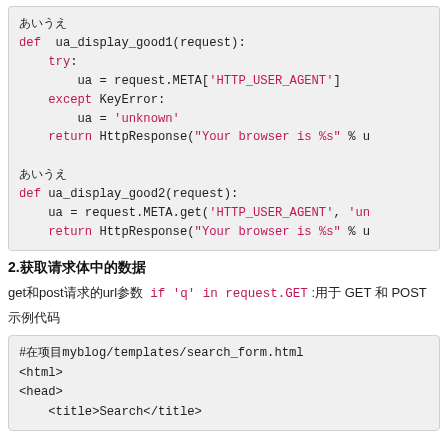[Figure (screenshot): Code block showing Python function ua_display_good1 with try/except block]
2.获取请求体中的数据
get和post请求的url参数  if 'q' in request.GET :用于 GET 和 POST
示例代码
[Figure (screenshot): HTML code block showing search_form.html template start]